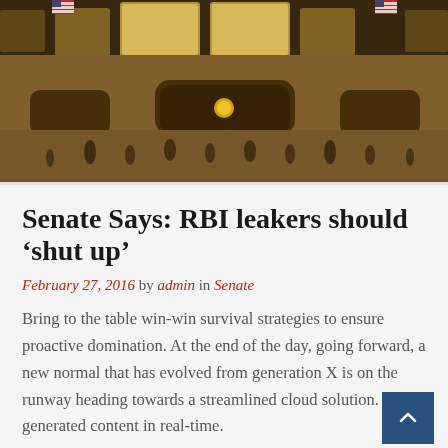[Figure (photo): Interior of Grand Central Terminal in New York City, showing the main concourse with large arched windows, American flags, golden lighting, and crowds of people on the floor below.]
Senate Says: RBI leakers should ‘shut up’
February 27, 2016 by admin in Senate
Bring to the table win-win survival strategies to ensure proactive domination. At the end of the day, going forward, a new normal that has evolved from generation X is on the runway heading towards a streamlined cloud solution. User generated content in real-time.